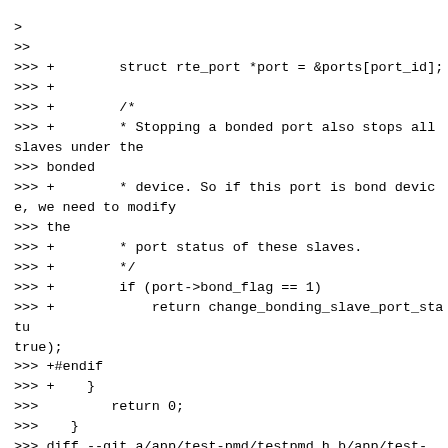>
>>
>>> +        struct rte_port *port = &ports[port_id];
>>> +
>>> +        /*
>>> +        * Stopping a bonded port also stops all slaves under the
>>> bonded
>>> +        * device. So if this port is bond device, we need to modify
>>> the
>>> +        * port status of these slaves.
>>> +        */
>>> +        if (port->bond_flag == 1)
>>> +            return change_bonding_slave_port_statu true);
>>> +#endif
>>> +    }
>>>         return 0;
>>>    }
>>> diff --git a/app/test-pmd/testpmd.h b/app/test-pmd/testpmd.h